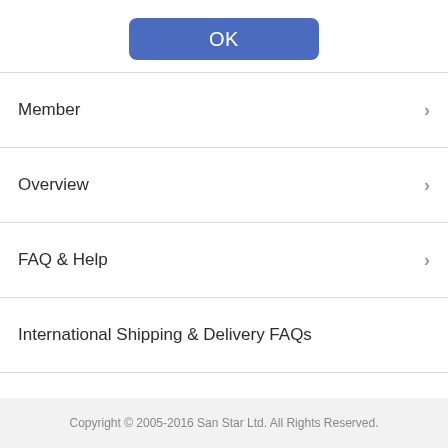[Figure (other): Blue OK button]
Member
Overview
FAQ & Help
International Shipping & Delivery FAQs
44
FAQ
Copyright © 2005-2016 San Star Ltd. All Rights Reserved.